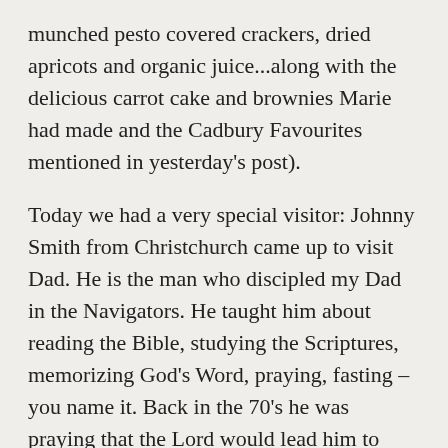munched pesto covered crackers, dried apricots and organic juice...along with the delicious carrot cake and brownies Marie had made and the Cadbury Favourites mentioned in yesterday's post).
Today we had a very special visitor: Johnny Smith from Christchurch came up to visit Dad. He is the man who discipled my Dad in the Navigators. He taught him about reading the Bible, studying the Scriptures, memorizing God's Word, praying, fasting – you name it. Back in the 70's he was praying that the Lord would lead him to someone he could disciple and the Lord led him to Dad! Well, am I ever thankful! His investment in Dad has also been an investment in myself and my siblings and Lord willing it will prove to be an investment in our children too as we embrace the spiritual disciplines that Mr Smith taught my dad. We saw Mr Smith and his and his Dad and his children